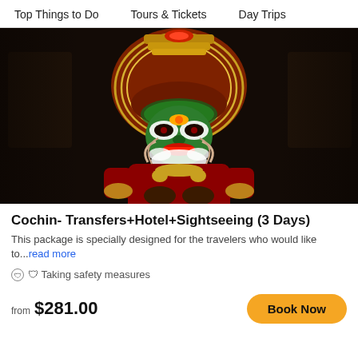Top Things to Do    Tours & Tickets    Day Trips
[Figure (photo): Kathakali dancer in traditional costume and elaborate headdress with green and red face paint, dark background]
Cochin- Transfers+Hotel+Sightseeing (3 Days)
This package is specially designed for the travelers who would like to...read more
🛡 Taking safety measures
from $281.00
Book Now